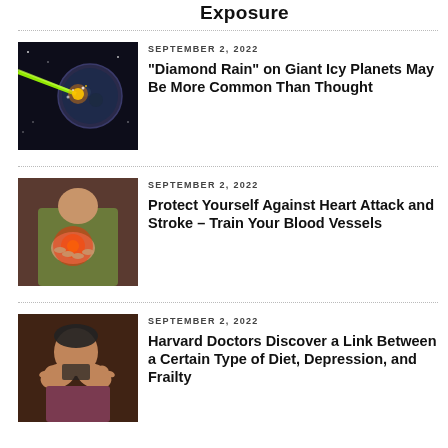Exposure
[Figure (photo): Laser beam hitting a planet/globe in space]
SEPTEMBER 2, 2022
“Diamond Rain” on Giant Icy Planets May Be More Common Than Thought
[Figure (photo): Person holding their chest/heart area with red glow]
SEPTEMBER 2, 2022
Protect Yourself Against Heart Attack and Stroke – Train Your Blood Vessels
[Figure (photo): Person appearing anxious or stressed, covering face]
SEPTEMBER 2, 2022
Harvard Doctors Discover a Link Between a Certain Type of Diet, Depression, and Frailty
[Figure (photo): Space scene with stars and orbital rings]
SEPTEMBER 2, 2022
“One of a Kind” Massive Triple Star